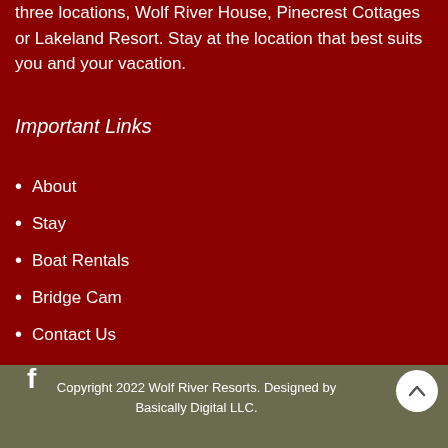three locations, Wolf River House, Pinecrest Cottages or Lakeland Resort. Stay at the location that best suits you and your vacation.
Important Links
About
Stay
Boat Rentals
Bridge Cam
Contact Us
[Figure (logo): Facebook icon (white 'f' logo)]
Copyright 2022 Wolf River Resorts. Designed by Basically Digital LLC.